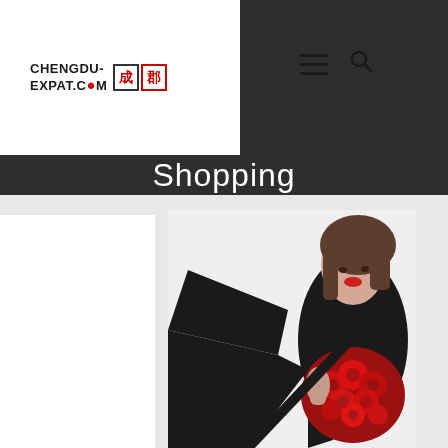CHENGDU-EXPAT.COM
Shopping
[Figure (photo): A woman in a black outfit holding a large bouquet or arrangement of red roses inside a black frame, photographed in a white interior setting]